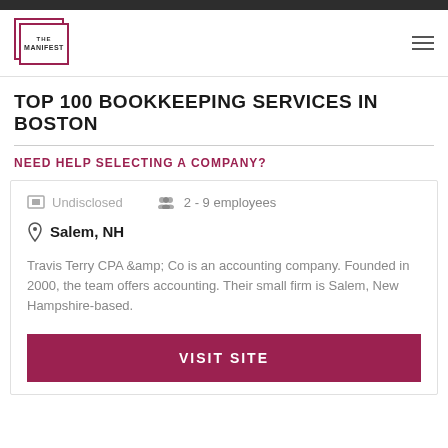THE MANIFEST
TOP 100 BOOKKEEPING SERVICES IN BOSTON
NEED HELP SELECTING A COMPANY?
Undisclosed   2 - 9 employees   Salem, NH
Travis Terry CPA &amp; Co is an accounting company. Founded in 2000, the team offers accounting. Their small firm is Salem, New Hampshire-based.
VISIT SITE